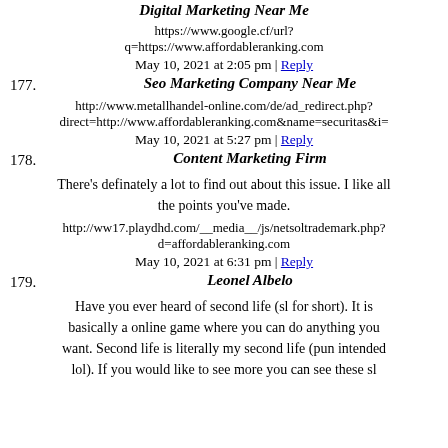Digital Marketing Near Me
https://www.google.cf/url?q=https://www.affordableranking.com
May 10, 2021 at 2:05 pm | Reply
177. Seo Marketing Company Near Me
http://www.metallhandel-online.com/de/ad_redirect.php?direct=http://www.affordableranking.com&name=securitas&i=
May 10, 2021 at 5:27 pm | Reply
178. Content Marketing Firm
There's definately a lot to find out about this issue. I like all the points you've made.
http://ww17.playdhd.com/__media__/js/netsoltrademark.php?d=affordableranking.com
May 10, 2021 at 6:31 pm | Reply
179. Leonel Albelo
Have you ever heard of second life (sl for short). It is basically a online game where you can do anything you want. Second life is literally my second life (pun intended lol). If you would like to see more you can see these sl